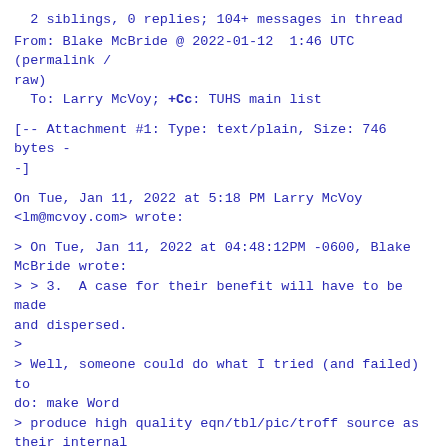2 siblings, 0 replies; 104+ messages in thread
From: Blake McBride @ 2022-01-12  1:46 UTC (permalink /
raw)
  To: Larry McVoy; +Cc: TUHS main list
[-- Attachment #1: Type: text/plain, Size: 746 bytes -
-]
On Tue, Jan 11, 2022 at 5:18 PM Larry McVoy
<lm@mcvoy.com> wrote:
> On Tue, Jan 11, 2022 at 04:48:12PM -0600, Blake
McBride wrote:
> > 3.  A case for their benefit will have to be made
and dispersed.
>
> Well, someone could do what I tried (and failed) to
do: make Word
> produce high quality eqn/tbl/pic/troff source as
their internal
> format.
>
As I said earlier, I despise Word for many reasons.  I
think making Word,
or any proprietary software, do anything as, in the
long haul, a waste of
time.